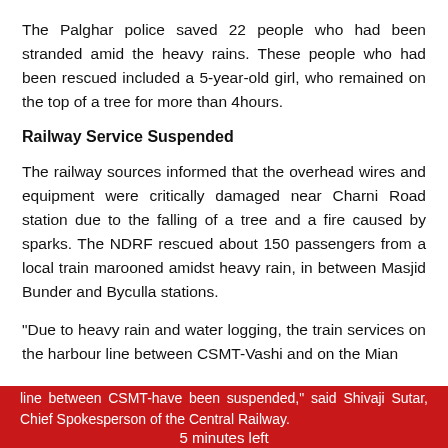The Palghar police saved 22 people who had been stranded amid the heavy rains. These people who had been rescued included a 5-year-old girl, who remained on the top of a tree for more than 4hours.
Railway Service Suspended
The railway sources informed that the overhead wires and equipment were critically damaged near Charni Road station due to the falling of a tree and a fire caused by sparks. The NDRF rescued about 150 passengers from a local train marooned amidst heavy rain, in between Masjid Bunder and Byculla stations.
"Due to heavy rain and water logging, the train services on the harbour line between CSMT-Vashi and on the Mian line between CSMT-have been suspended," said Shivaji Sutar, Chief Spokesperson of the Central Railway.
5 minutes left